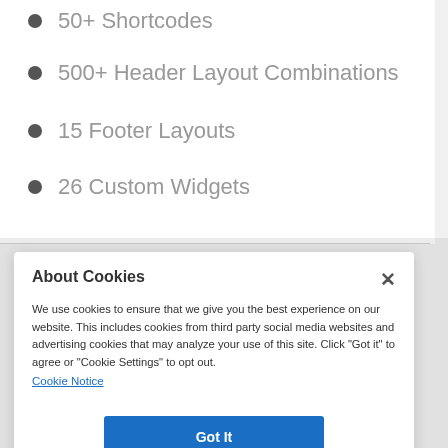50+ Shortcodes
500+ Header Layout Combinations
15 Footer Layouts
26 Custom Widgets
About Cookies
We use cookies to ensure that we give you the best experience on our website. This includes cookies from third party social media websites and advertising cookies that may analyze your use of this site. Click "Got it" to agree or "Cookie Settings" to opt out.
Cookie Notice
Got It
Cookies Settings